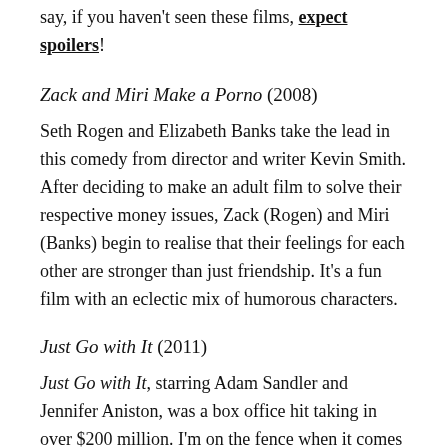say, if you haven't seen these films, expect spoilers!
Zack and Miri Make a Porno (2008)
Seth Rogen and Elizabeth Banks take the lead in this comedy from director and writer Kevin Smith. After deciding to make an adult film to solve their respective money issues, Zack (Rogen) and Miri (Banks) begin to realise that their feelings for each other are stronger than just friendship. It's a fun film with an eclectic mix of humorous characters.
Just Go with It (2011)
Just Go with It, starring Adam Sandler and Jennifer Aniston, was a box office hit taking in over $200 million. I'm on the fence when it comes to Sandler